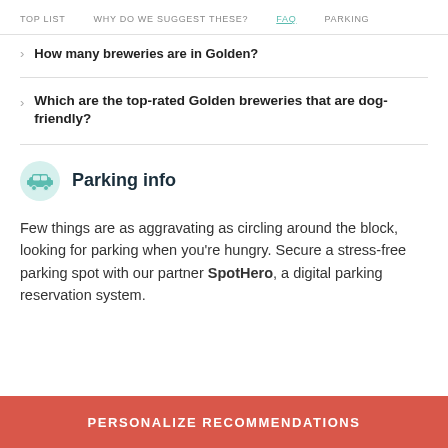TOP LIST  WHY DO WE SUGGEST THESE?  FAQ  PARKING
How many breweries are in Golden?
Which are the top-rated Golden breweries that are dog-friendly?
Parking info
Few things are as aggravating as circling around the block, looking for parking when you're hungry. Secure a stress-free parking spot with our partner SpotHero, a digital parking reservation system.
PERSONALIZE RECOMMENDATIONS